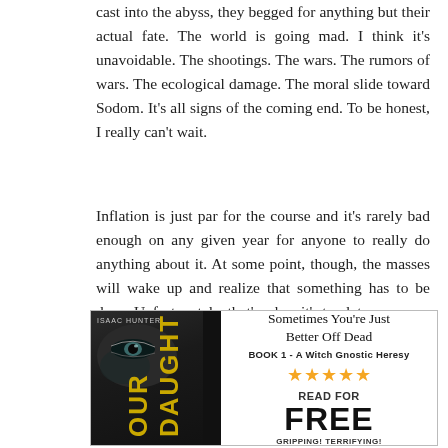cast into the abyss, they begged for anything but their actual fate. The world is going mad. I think it's unavoidable. The shootings. The wars. The rumors of wars. The ecological damage. The moral slide toward Sodom. It's all signs of the coming end. To be honest, I really can't wait.
Inflation is just par for the course and it's rarely bad enough on any given year for anyone to really do anything about it. At some point, though, the masses will wake up and realize that something has to be done. Unfortunately, that's when it's too late.
[Figure (other): Book advertisement for 'Sometimes You're Just Better Off Dead, Book 1 - A Witch Gnostic Heresy' by Isaac Hunter. Shows book cover on left (dark cover with a face/eye and yellow vertical title text 'OUR DAUGHT...') and on the right: book title, subtitle, 5 gold stars, 'READ FOR FREE', 'GRIPPING! TERRIFYING!' tagline.]